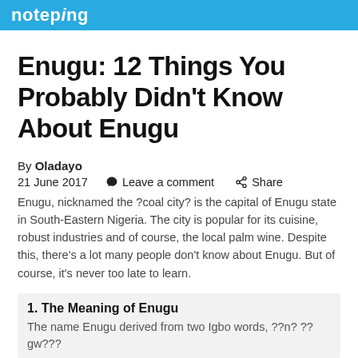noteping
Enugu: 12 Things You Probably Didn't Know About Enugu
By Oladayo
21 June 2017   Leave a comment   Share
Enugu, nicknamed the ?coal city? is the capital of Enugu state in South-Eastern Nigeria. The city is popular for its cuisine, robust industries and of course, the local palm wine. Despite this, there's a lot many people don't know about Enugu. But of course, it's never too late to learn.
1. The Meaning of Enugu
The name Enugu derived from two Igbo words, ??n? ??gw???